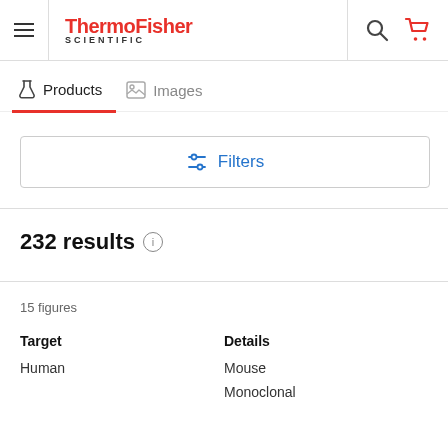ThermoFisher SCIENTIFIC
Products   Images
Filters
232 results
15 figures
Target
Human
Details
Mouse
Monoclonal